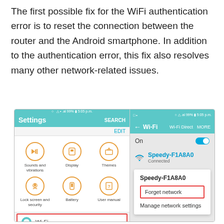The first possible fix for the WiFi authentication error is to reset the connection between the router and the Android smartphone. In addition to the authentication error, this fix also resolves many other network-related issues.
[Figure (screenshot): Two Android smartphone screenshots side by side. Left shows Settings screen with icons for Sounds and vibrations, Display, Themes, Lock screen and security, Battery, User manual, with Wi-Fi highlighted in a red box. Right shows Wi-Fi settings screen with Speedy-F1A8A0 network connected, and a popup showing 'Forget network' option highlighted in red box, and 'Manage network settings' below.]